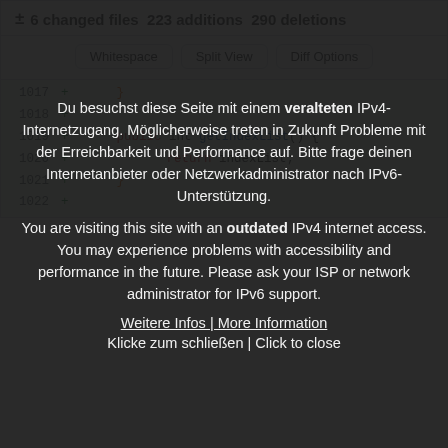± 6 changed files  223 additions  290 deletions
Whitespace  |  Split View  |  Diff Options
[Figure (screenshot): Code diff showing lines 1017-1022 with green addition markers. Line 1017: }, Line 1018: empty, Line 1019: public int getIndexList() {, Line 1020: return indexList;, Line 1021: }, Line 1022: empty]
Du besuchst diese Seite mit einem veralteten IPv4-Internetzugang. Möglicherweise treten in Zukunft Probleme mit der Erreichbarkeit und Performance auf. Bitte frage deinen Internetanbieter oder Netzwerkadministrator nach IPv6-Unterstützung.

You are visiting this site with an outdated IPv4 internet access. You may experience problems with accessibility and performance in the future. Please ask your ISP or network administrator for IPv6 support.

Weitere Infos | More Information
Klicke zum schließen | Click to close